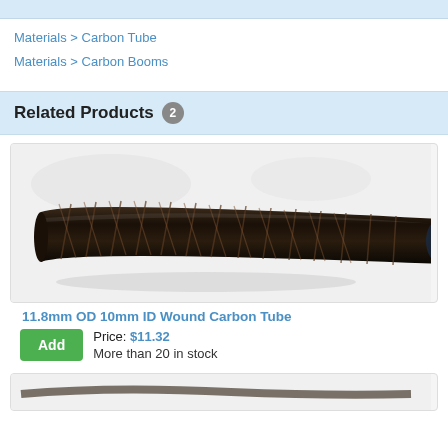Materials > Carbon Tube
Materials > Carbon Booms
Related Products 2
[Figure (photo): Photo of a carbon fiber tube, dark woven texture, cylindrical shape on light background]
11.8mm OD 10mm ID Wound Carbon Tube
Price: $11.32
More than 20 in stock